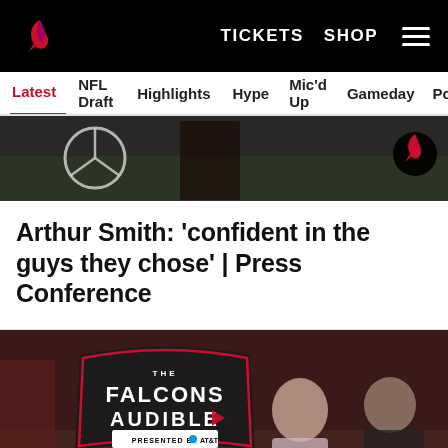Atlanta Falcons website header with logo, TICKETS, SHOP navigation and hamburger menu
Latest | NFL Draft | Highlights | Hype | Mic'd Up | Gameday | Pod
[Figure (photo): Partial hero image showing training/practice scene with Mercedes-Benz logo and Falcons logo visible at top]
Arthur Smith: 'confident in the guys they chose' | Press Conference
[Figure (photo): The Falcons Audible podcast thumbnail featuring three people standing on a field. Text overlay reads 'THE FALCONS AUDIBLE PRESENTED BY AT&T' with badge logo and 'INITIAL 53-MAN ROSTER REACTIONS' at bottom.]